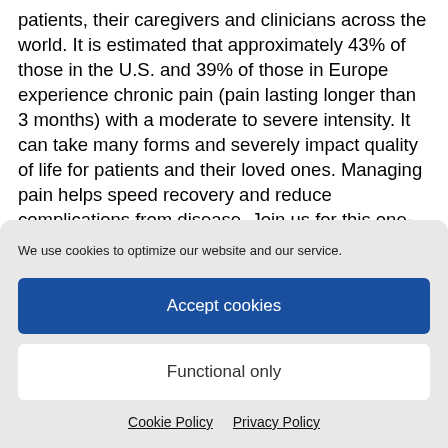patients, their caregivers and clinicians across the world. It is estimated that approximately 43% of those in the U.S. and 39% of those in Europe experience chronic pain (pain lasting longer than 3 months) with a moderate to severe intensity. It can take many forms and severely impact quality of life for patients and their loved ones. Managing pain helps speed recovery and reduce complications from disease. Join us for this one-day virtual seminar as we explore causes of pain and various non-opioid treatment options.
We use cookies to optimize our website and our service.
Accept cookies
Functional only
Cookie Policy   Privacy Policy